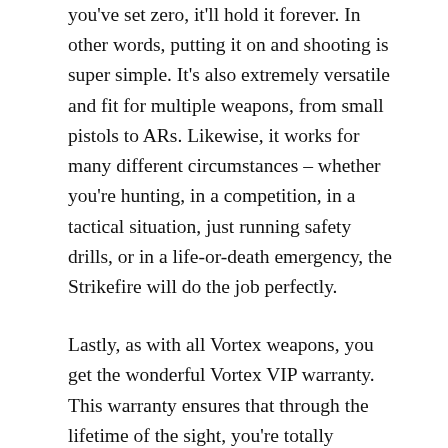you've set zero, it'll hold it forever. In other words, putting it on and shooting is super simple. It's also extremely versatile and fit for multiple weapons, from small pistols to ARs. Likewise, it works for many different circumstances – whether you're hunting, in a competition, in a tactical situation, just running safety drills, or in a life-or-death emergency, the Strikefire will do the job perfectly.
Lastly, as with all Vortex weapons, you get the wonderful Vortex VIP warranty. This warranty ensures that through the lifetime of the sight, you're totally covered. It's a fully transferable lifetime warranty that covers any and all